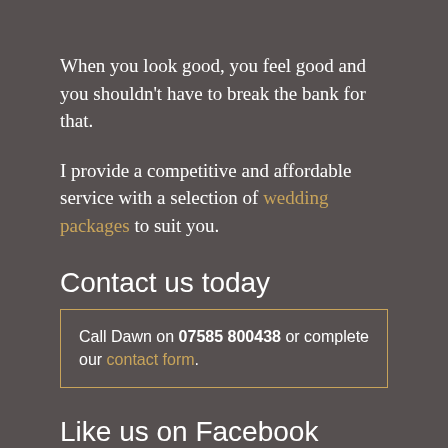When you look good, you feel good and you shouldn't have to break the bank for that.
I provide a competitive and affordable service with a selection of wedding packages to suit you.
Contact us today
Call Dawn on 07585 800438 or complete our contact form.
Like us on Facebook
Wedding Hair Surrey